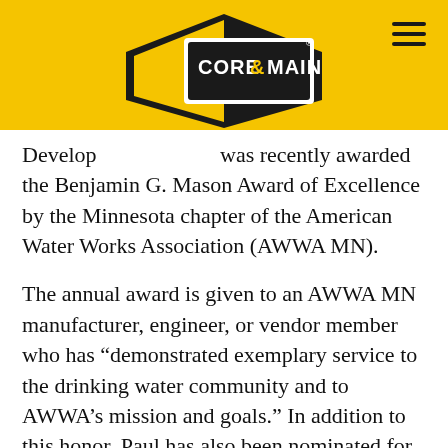[Figure (logo): Core & Main logo — black diamond/hexagon shape with yellow fill on left side, white text reading CORE & MAIN with ampersand, registered trademark symbol]
Development [Core & Main logo] was recently awarded the Benjamin G. Mason Award of Excellence by the Minnesota chapter of the American Water Works Association (AWWA MN).
The annual award is given to an AWWA MN manufacturer, engineer, or vendor member who has “demonstrated exemplary service to the drinking water community and to AWWA’s mission and goals.” In addition to this honor, Paul has also been nominated for the John Lechner Award of Excellence, which is the national level of this award, to be